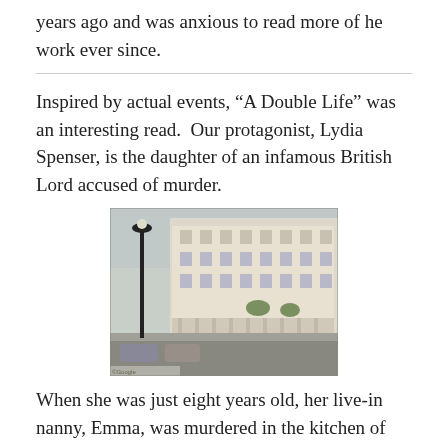years ago and was anxious to read more of he work ever since.
Inspired by actual events, “A Double Life” was an interesting read.  Our protagonist, Lydia Spenser, is the daughter of an infamous British Lord accused of murder.
[Figure (photo): Street view of white Georgian terraced townhouses in Belgravia, London, with a lamp post and parked cars on the street.]
When she was just eight years old, her live-in nanny, Emma, was murdered in the kitchen of their home in Belgravia, London.  The same night, her mother was